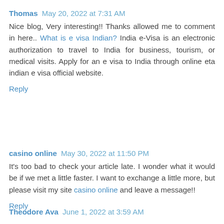Thomas  May 20, 2022 at 7:31 AM
Nice blog, Very interesting!! Thanks allowed me to comment in here.. What is e visa Indian? India e-Visa is an electronic authorization to travel to India for business, tourism, or medical visits. Apply for an e visa to India through online eta indian e visa official website.
Reply
casino online  May 30, 2022 at 11:50 PM
It's too bad to check your article late. I wonder what it would be if we met a little faster. I want to exchange a little more, but please visit my site casino online and leave a message!!
Reply
Theodore Ava  June 1, 2022 at 3:59 AM